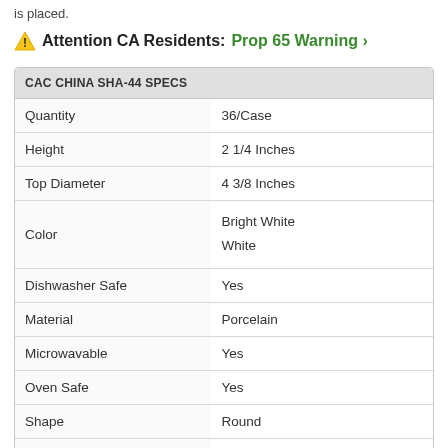is placed.
⚠ Attention CA Residents: Prop 65 Warning ›
| CAC CHINA SHA-44 SPECS |  |
| --- | --- |
| Quantity | 36/Case |
| Height | 2 1/4 Inches |
| Top Diameter | 4 3/8 Inches |
| Color | Bright White
White |
| Dishwasher Safe | Yes |
| Material | Porcelain |
| Microwavable | Yes |
| Oven Safe | Yes |
| Shape | Round |
| Type | Rice Bowls |